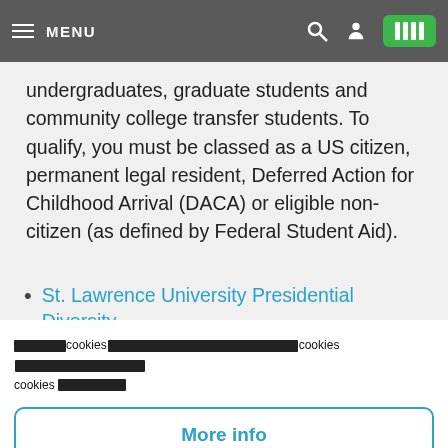MENU
undergraduates, graduate students and community college transfer students. To qualify, you must be classed as a US citizen, permanent legal resident, Deferred Action for Childhood Arrival (DACA) or eligible non-citizen (as defined by Federal Student Aid).
St. Lawrence University Presidential Diversity
[redacted] cookies [redacted] cookies [redacted] cookies [redacted]
More info
[redacted]